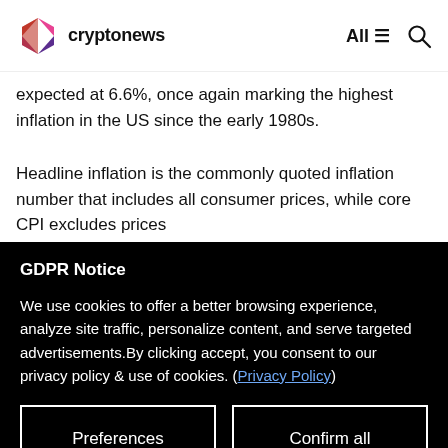cryptonews  All
expected at 6.6%, once again marking the highest inflation in the US since the early 1980s.
Headline inflation is the commonly quoted inflation number that includes all consumer prices, while core CPI excludes prices
GDPR Notice
We use cookies to offer a better browsing experience, analyze site traffic, personalize content, and serve targeted advertisements.By clicking accept, you consent to our privacy policy & use of cookies. (Privacy Policy)
Preferences
Confirm all